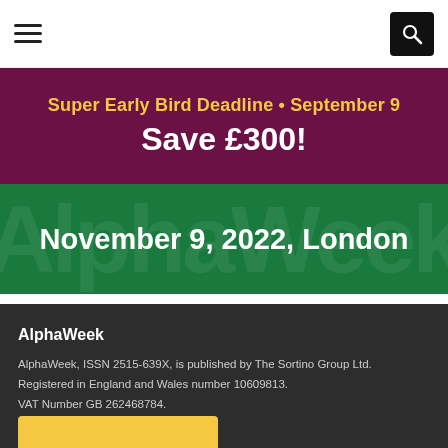Navigation bar with hamburger menu and search button
[Figure (infographic): Purple banner with yellow text 'Super Early Bird Deadline • September 9' and white bold text 'Save £300!']
[Figure (infographic): Green banner with white bold text 'November 9, 2022, London']
AlphaWeek
AlphaWeek, ISSN 2515-639X, is published by The Sortino Group Ltd. Registered in England and Wales number 10609813. VAT Number GB 262468784.
[Figure (infographic): Social media icons: Facebook, Twitter, LinkedIn]
[Figure (infographic): Yellow button strip at the bottom]